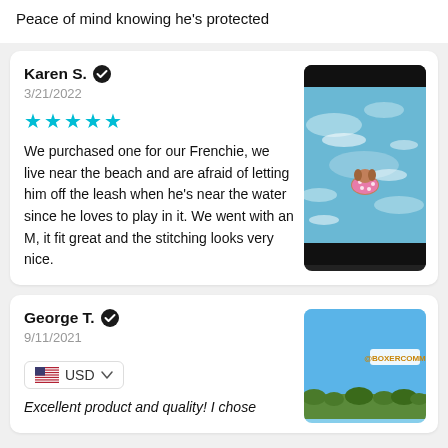Peace of mind knowing he's protected
Karen S. ✓
3/21/2022
★★★★★
We purchased one for our Frenchie, we live near the beach and are afraid of letting him off the leash when he's near the water since he loves to play in it. We went with an M, it fit great and the stitching looks very nice.
[Figure (photo): A small dog wearing a pink polka-dot life vest in ocean water/waves, photographed from above. Black bars at top and bottom like a video frame.]
George T. ✓
9/11/2021
USD
Excellent product and quality! I chose
[Figure (photo): Outdoor image with blue sky, trees at bottom, with '@BOXERCOMM' watermark label visible. Likely showing a dog in a life vest outdoors.]